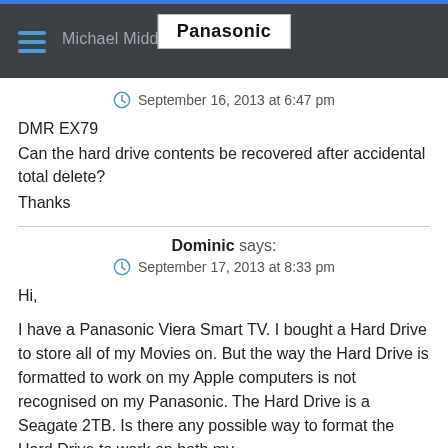Michael Midd... | Panasonic
September 16, 2013 at 6:47 pm
DMR EX79
Can the hard drive contents be recovered after accidental total delete?
Thanks
Dominic says:
September 17, 2013 at 8:33 pm
Hi,

I have a Panasonic Viera Smart TV. I bought a Hard Drive to store all of my Movies on. But the way the Hard Drive is formatted to work on my Apple computers is not recognised on my Panasonic. The Hard Drive is a Seagate 2TB. Is there any possible way to format the Hard Drive to work on both my